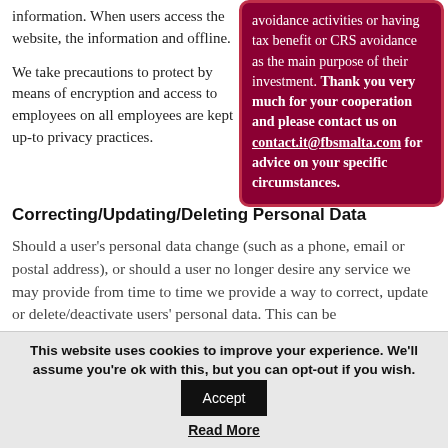information. When users access the website, the information and offline.
avoidance activities or having tax benefit or CRS avoidance as the main purpose of their investment. Thank you very much for your cooperation and please contact us on contact.it@fbsmalta.com for advice on your specific circumstances.
We take precautions to protect by means of encryption and access to employees on all employees are kept up-to privacy practices.
Correcting/Updating/Deleting Personal Data
Should a user’s personal data change (such as a phone, email or postal address), or should a user no longer desire any service we may provide from time to time we provide a way to correct, update or delete/deactivate users’ personal data. This can be
This website uses cookies to improve your experience. We'll assume you're ok with this, but you can opt-out if you wish.
Read More